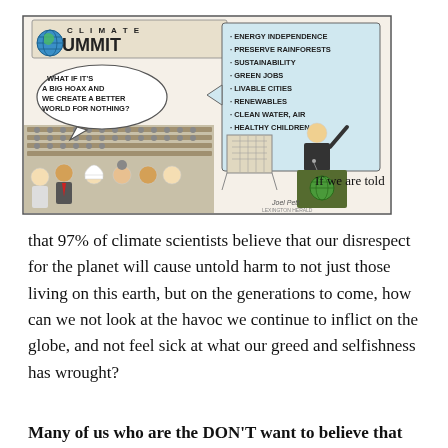[Figure (illustration): A political cartoon showing a Climate Summit scene. A speaker at a podium with a globe logo gestures to a speech bubble listing: ENERGY INDEPENDENCE, PRESERVE RAINFORESTS, SUSTAINABILITY, GREEN JOBS, LIVABLE CITIES, RENEWABLES, CLEAN WATER AIR, HEALTHY CHILDREN, ETC. ETC. An audience member has a speech bubble saying: WHAT IF IT'S A BIG HOAX AND WE CREATE A BETTER WORLD FOR NOTHING? A banner reads CLIMATE SUMMIT with a globe icon. Signed by Joel Pett.]
If we are told that 97% of climate scientists believe that our disrespect for the planet will cause untold harm to not just those living on this earth, but on the generations to come, how can we not look at the havoc we continue to inflict on the globe, and not feel sick at what our greed and selfishness has wrought?
Many of us who are the DON'T want to believe that